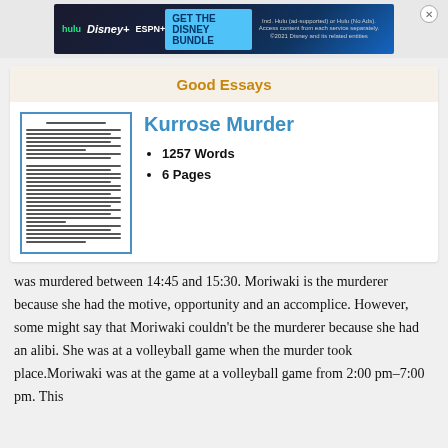[Figure (screenshot): Disney Bundle advertisement banner with Hulu, Disney+, ESPN+ logos and GET THE DISNEY BUNDLE call to action button]
Good Essays
[Figure (photo): Thumbnail preview of the Kurrose Murder essay document]
Kurrose Murder
1257 Words
6 Pages
was murdered between 14:45 and 15:30. Moriwaki is the murderer because she had the motive, opportunity and an accomplice. However, some might say that Moriwaki couldn't be the murderer because she had an alibi. She was at a volleyball game when the murder took place.Moriwaki was at the game at a volleyball game from 2:00 pm–7:00 pm. This